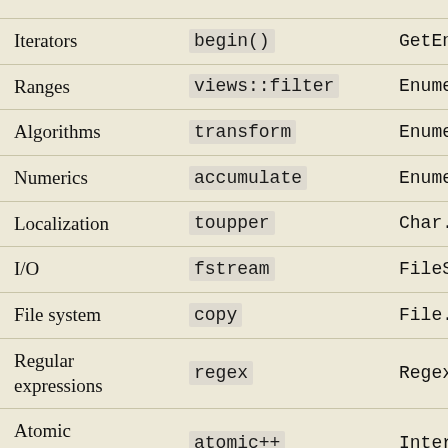| Category | C++ Example | .NET Example |
| --- | --- | --- |
| Iterators | begin() | GetEnum… |
| Ranges | views::filter | Enumera… |
| Algorithms | transform | Enumera… |
| Numerics | accumulate | Enumera… |
| Localization | toupper | Char.To… |
| I/O | fstream | FileStr… |
| File system | copy | File.Co… |
| Regular expressions | regex | Regex |
| Atomic operations | atomic++ | Interlo… |